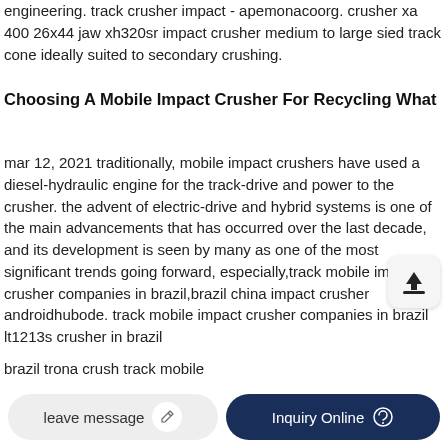engineering. track crusher impact - apemonacoorg. crusher xa 400 26x44 jaw xh320sr impact crusher medium to large sied track cone ideally suited to secondary crushing.
Choosing A Mobile Impact Crusher For Recycling What
mar 12, 2021 traditionally, mobile impact crushers have used a diesel-hydraulic engine for the track-drive and power to the crusher. the advent of electric-drive and hybrid systems is one of the main advancements that has occurred over the last decade, and its development is seen by many as one of the most significant trends going forward, especially,track mobile impact crusher companies in brazil,brazil china impact crusher androidhubode. track mobile impact crusher companies in brazil lt1213s crusher in brazil
brazil trona crush track mobile